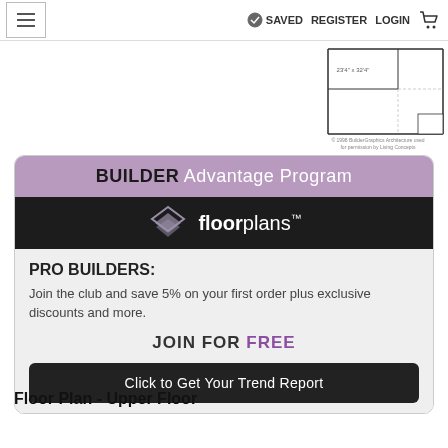SAVED  REGISTER  LOGIN
[Figure (schematic): Partial floor plan diagram showing room layout with dimensions, top-right corner of page]
[Figure (infographic): BUILDER Advantage Program banner with floorplans logo, PRO BUILDERS join offer, JOIN FOR FREE, and Click to Get Your Trend Report button]
Floor Plan - Upper Floor